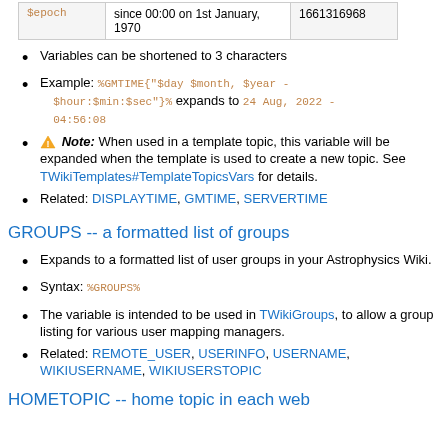|  |  |  |
| --- | --- | --- |
| $epoch | since 00:00 on 1st January, 1970 | 1661316968 |
Variables can be shortened to 3 characters
Example: %GMTIME{"$day $month, $year - $hour:$min:$sec"}% expands to 24 Aug, 2022 - 04:56:08
⚠ Note: When used in a template topic, this variable will be expanded when the template is used to create a new topic. See TWikiTemplates#TemplateTopicsVars for details.
Related: DISPLAYTIME, GMTIME, SERVERTIME
GROUPS -- a formatted list of groups
Expands to a formatted list of user groups in your Astrophysics Wiki.
Syntax: %GROUPS%
The variable is intended to be used in TWikiGroups, to allow a group listing for various user mapping managers.
Related: REMOTE_USER, USERINFO, USERNAME, WIKIUSERNAME, WIKIUSERSTOPIC
HOMETOPIC -- home topic in each web